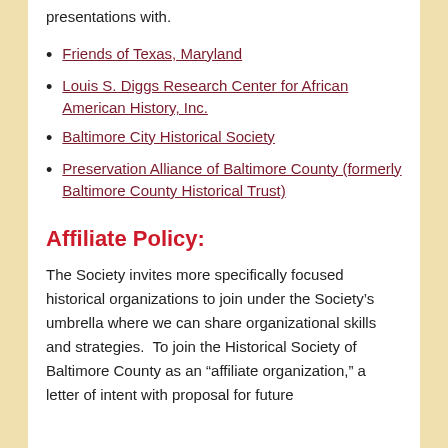presentations with.
Friends of Texas, Maryland
Louis S. Diggs Research Center for African American History, Inc.
Baltimore City Historical Society
Preservation Alliance of Baltimore County (formerly Baltimore County Historical Trust)
Affiliate Policy:
The Society invites more specifically focused historical organizations to join under the Society’s umbrella where we can share organizational skills and strategies.  To join the Historical Society of Baltimore County as an “affiliate organization,” a letter of intent with proposal for future